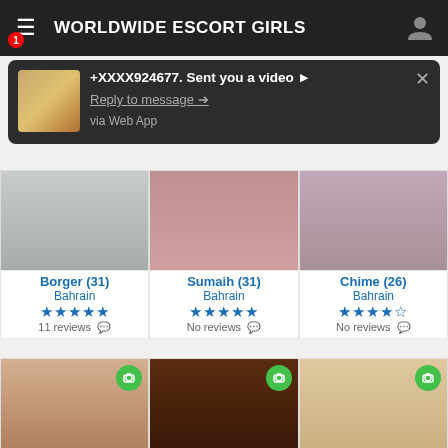WORLDWIDE ESCORT GIRLS
[Figure (screenshot): Notification popup: '+XXXX924677. Sent you a video ▶ Reply to message ➡ via Web App']
[Figure (photo): Grid of escort profile photos with names Borger (31), Sumaih (31), Chime (26), all listed as Bahrain with star ratings and review counts]
Borger (31)
Bahrain
★★★★★
11 reviews
Sumaih (31)
Bahrain
★★★★★
No reviews
Chime (26)
Bahrain
★★★★½
No reviews
[Figure (photo): Three more profile photo thumbnails with camera icons]